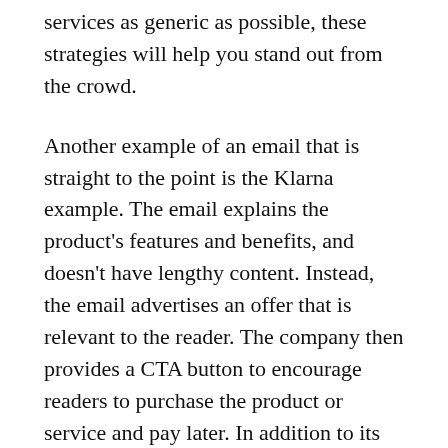services as generic as possible, these strategies will help you stand out from the crowd.
Another example of an email that is straight to the point is the Klarna example. The email explains the product's features and benefits, and doesn't have lengthy content. Instead, the email advertises an offer that is relevant to the reader. The company then provides a CTA button to encourage readers to purchase the product or service and pay later. In addition to its effectiveness, the email is easy to read. And it's fun to read!
Uber's email is another example. In addition to using a simple design with an eye-catching CTA button, this email utilizes the curiosity gap strategy and uses images to draw the attention of the recipient. The company uses a single-column layout in this email to appeal to their audience. It also uses images and copy to balance out the copy and the image. If you're looking for an email